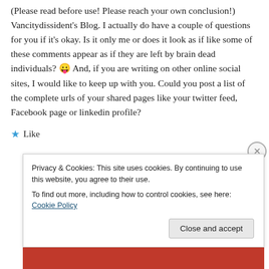(Please read before use! Please reach your own conclusion!) Vancitydissident's Blog. I actually do have a couple of questions for you if it's okay. Is it only me or does it look as if like some of these comments appear as if they are left by brain dead individuals? 😛 And, if you are writing on other online social sites, I would like to keep up with you. Could you post a list of the complete urls of your shared pages like your twitter feed, Facebook page or linkedin profile?
★ Like
Privacy & Cookies: This site uses cookies. By continuing to use this website, you agree to their use.
To find out more, including how to control cookies, see here: Cookie Policy
Close and accept